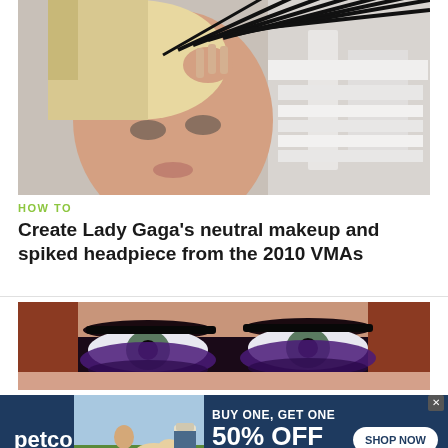[Figure (photo): Close-up photo of a blonde woman with a black spiked headpiece, wearing neutral makeup, posed against a white architectural background]
HOW TO
Create Lady Gaga's neutral makeup and spiked headpiece from the 2010 VMAs
[Figure (photo): Close-up photo of a woman's eyes with dramatic purple and dark eye makeup]
[Figure (infographic): Petco advertisement: BUY ONE, GET ONE 50% OFF - Help support your dog's joints with a premium supplement. SHOP NOW button. Shows person with dog and supplement product.]